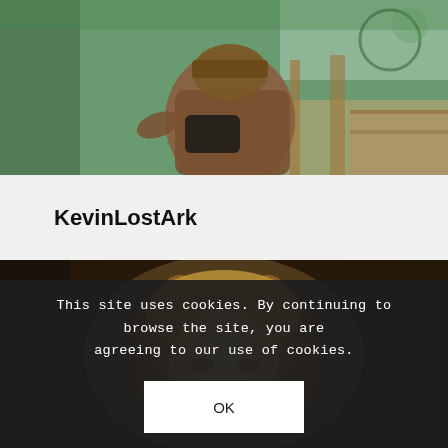[Figure (photo): Outdoor photo of a person wearing a brown jacket and hat, leaning over what appears to be a wooden surface with greenery in the background.]
KevinLostArk
[Figure (photo): Blurry, vintage-style photo of a child with blond hair facing the camera in a dark setting.]
This site uses cookies. By continuing to browse the site, you are agreeing to our use of cookies.
OK